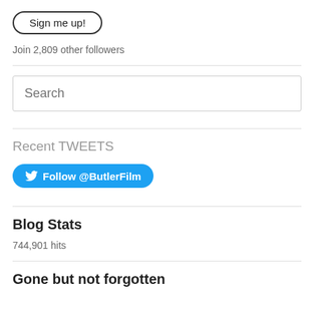[Figure (other): Sign me up! button with rounded border]
Join 2,809 other followers
[Figure (other): Search input box placeholder]
Recent TWEETS
[Figure (other): Twitter Follow @ButlerFilm button]
Blog Stats
744,901 hits
Gone but not forgotten